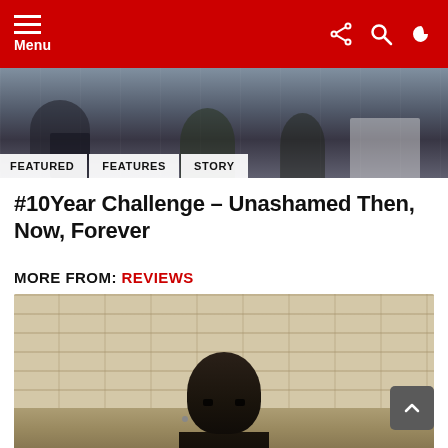Menu
[Figure (photo): Navigation bar with red background, hamburger menu icon and Menu label on left, share/search/dark-mode icons on right]
[Figure (photo): Hero banner image showing people's legs/feet in a gym or sports setting, with category tags FEATURED, FEATURES, STORY overlaid at bottom]
#10Year Challenge – Unashamed Then, Now, Forever
MORE FROM: REVIEWS
[Figure (photo): Photo of a bald Black person looking upward, standing in front of a beige/cream brick wall]